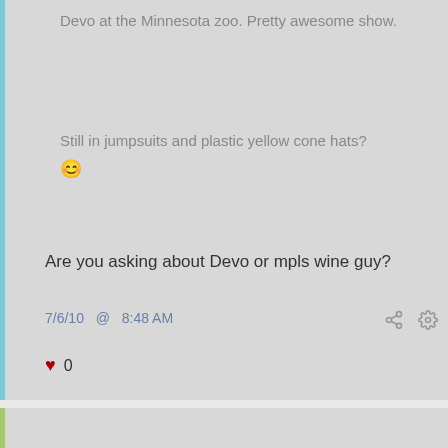Devo at the Minnesota zoo. Pretty awesome show.
Still in jumpsuits and plastic yellow cone hats? 🙂
Are you asking about Devo or mpls wine guy?
7/6/10 @ 8:48 AM
♥ 0
mitpradikat